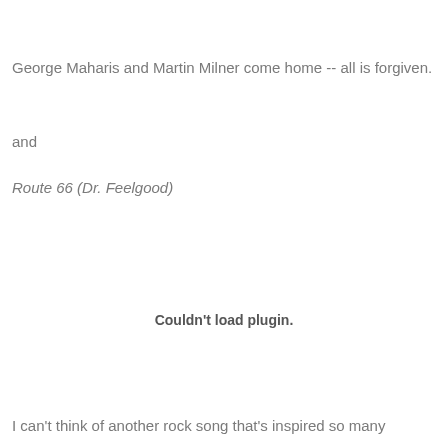George Maharis and Martin Milner come home -- all is forgiven.
and
Route 66 (Dr. Feelgood)
[Figure (other): Embedded plugin area showing 'Couldn't load plugin.' message]
I can't think of another rock song that's inspired so many